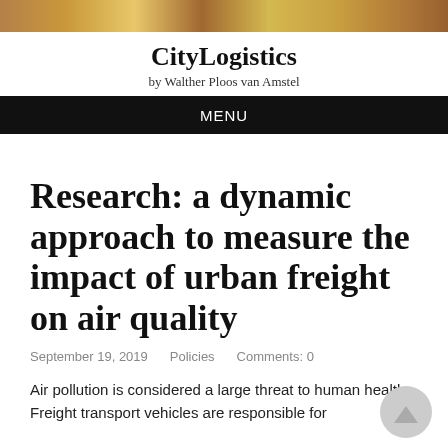[Figure (photo): Decorative header image strip showing city/logistics related photos]
CityLogistics
by Walther Ploos van Amstel
MENU
Research: a dynamic approach to measure the impact of urban freight on air quality
September 19, 2019    Policies    Comments: 0
Air pollution is considered a large threat to human health. Freight transport vehicles are responsible for